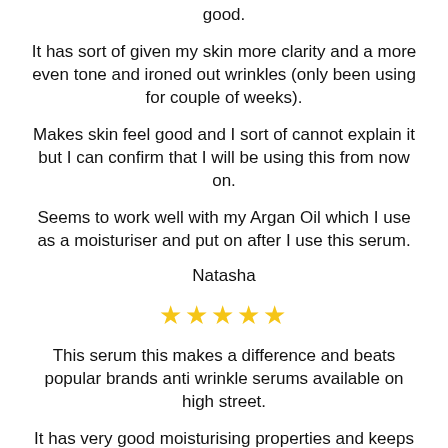good.
It has sort of given my skin more clarity and a more even tone and ironed out wrinkles (only been using for couple of weeks).
Makes skin feel good and I sort of cannot explain it but I can confirm that I will be using this from now on.
Seems to work well with my Argan Oil which I use as a moisturiser and put on after I use this serum.
Natasha
[Figure (other): Five gold star rating symbols]
This serum this makes a difference and beats popular brands anti wrinkle serums available on high street.
It has very good moisturising properties and keeps skin moist all day.